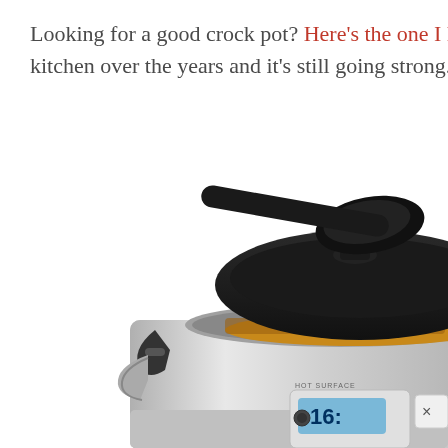Looking for a good crock pot? Here's the one I have – and kitchen over the years and it's still going strong. I love the p
[Figure (photo): Close-up photo of a stainless steel crock pot / slow cooker with a black lid partially open, a black ladle resting on top, and food (appears to be pineapple chunks in sauce) visible inside. The front panel shows a digital display. Text 'HOT SURFACE' visible on the unit.]